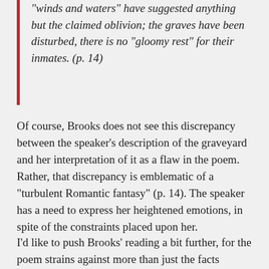"winds and waters" have suggested anything but the claimed oblivion; the graves have been disturbed, there is no "gloomy rest" for their inmates. (p. 14)
Of course, Brooks does not see this discrepancy between the speaker's description of the graveyard and her interpretation of it as a flaw in the poem. Rather, that discrepancy is emblematic of a "turbulent Romantic fantasy" (p. 14). The speaker has a need to express her heightened emotions, in spite of the constraints placed upon her.
I'd like to push Brooks' reading a bit further, for the poem strains against more than just the facts